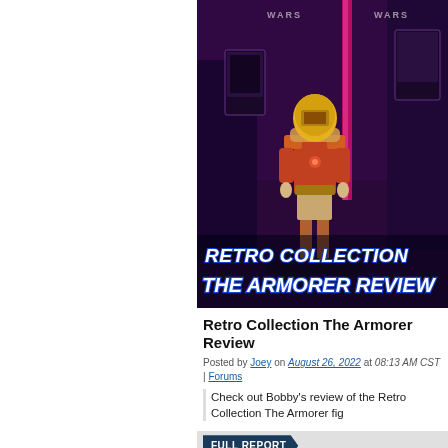[Figure (photo): Hero image of the Star Wars Retro Collection The Armorer action figure against a purple/dark store backdrop with text overlay reading 'RETRO COLLECTION THE ARMORER REVIEW']
Retro Collection The Armorer Review
Posted by Joey on August 26, 2022 at 08:13 AM CST | Forums
Check out Bobby's review of the Retro Collection The Armorer fig
FULL REPORT
[Figure (photo): Partial view of a second article's hero image, dark background with figures/display]